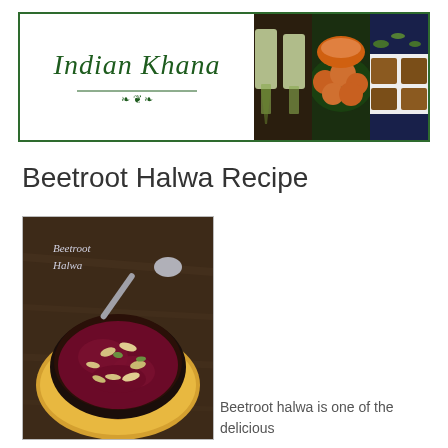[Figure (logo): Indian Khana blog header with logo text in italic green script and three food photos showing drinks, pani puri, and sweets]
Beetroot Halwa Recipe
[Figure (photo): Beetroot Halwa served in a dark bowl on a yellow floral cloth with a spoon, garnished with cashews and pistachios. Text overlay reads 'Beetroot Halwa']
Beetroot halwa is one of the delicious